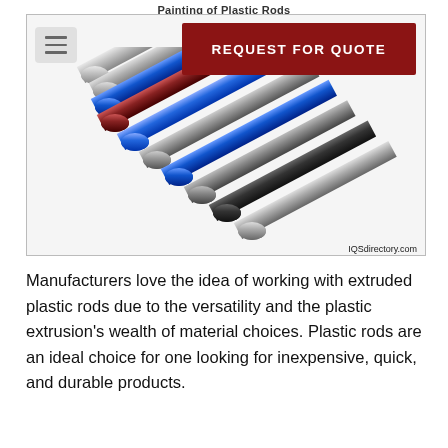Painting of Plastic Rods
[Figure (photo): Multiple extruded plastic rods in various colors (silver, blue, red/maroon, gray, black) arranged diagonally, with a REQUEST FOR QUOTE button overlay and IQSdirectory.com watermark]
Manufacturers love the idea of working with extruded plastic rods due to the versatility and the plastic extrusion's wealth of material choices. Plastic rods are an ideal choice for one looking for inexpensive, quick, and durable products.